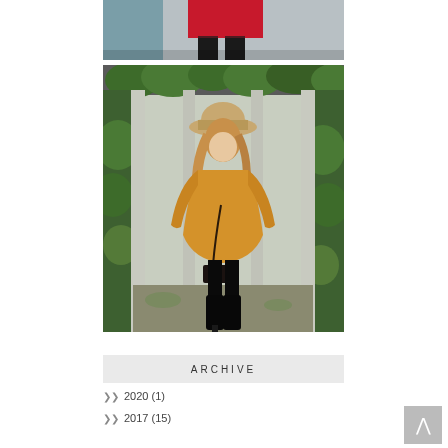[Figure (photo): Partial photo of a woman in a red top and dark tights, cropped at the torso, standing outdoors near a concrete structure]
[Figure (photo): Woman wearing a mustard/amber oversized sweater, tan wide-brim hat, and black over-the-knee boots, standing in a green ivy-covered pergola/archway passage]
ARCHIVE
2020 (1)
2017 (15)